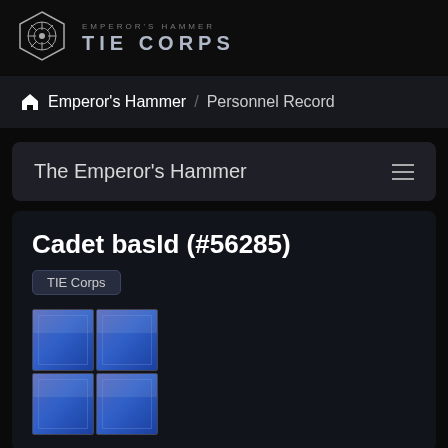EMPEROR'S HAMMER TIE CORPS
Emperor's Hammer / Personnel Record
The Emperor's Hammer
Cadet basId (#56285)
TIE Corps
[Figure (illustration): 2x2 grid of blue metallic square icon tiles]